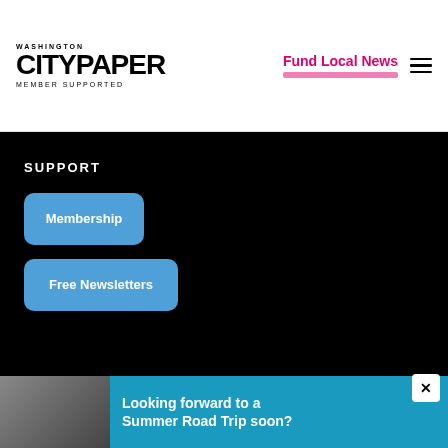WASHINGTON CITY PAPER MEMBER SUPPORTED
Fund Local News
SUPPORT
Membership
Free Newsletters
© 2022 WASHINGTON CITY PAPER. PROUDLY POWERED BY NEWSPACK BY AUTOMATTIC
[Figure (screenshot): Advertisement banner: photo of family in car on the left, teal background with text 'Looking forward to a Summer Road Trip soon?' on the right]